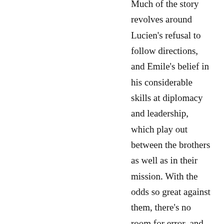Much of the story revolves around Lucien's refusal to follow directions, and Emile's belief in his considerable skills at diplomacy and leadership, which play out between the brothers as well as in their mission. With the odds so great against them, there's no room for error, and the narrative feels unbearably tense.
My only criticism of Sugar Money is that, at times, Harris employs physical clichés for Lucien's emotional transitions — heartbeat, guts, etc. — when she's otherwise careful to render those moments more specifically and genuinely. But that's an intermittent, minor, complaint.
Instead, my biggest quarrel is with the